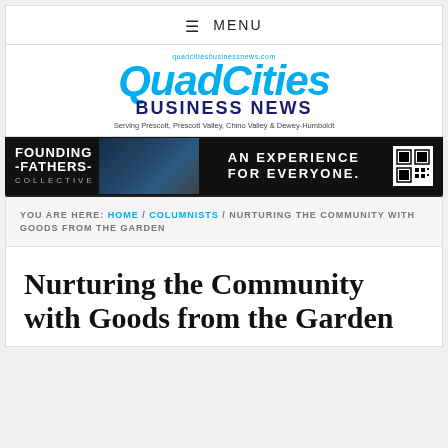≡ MENU
[Figure (logo): QuadCities Business News logo – cyan bold italic text with dark blue mountain silhouette. Tagline: Serving Prescott, Prescott Valley, Chino Valley & Dewey-Humboldt]
[Figure (other): Founding Fathers Collective advertisement banner – dark background, white bold text 'FOUNDING -FATHERS- COLLECTIVE', interior photo, 'AN EXPERIENCE FOR EVERYONE.' text, QR code]
YOU ARE HERE: HOME / COLUMNISTS / NURTURING THE COMMUNITY WITH GOODS FROM THE GARDEN
Nurturing the Community with Goods from the Garden